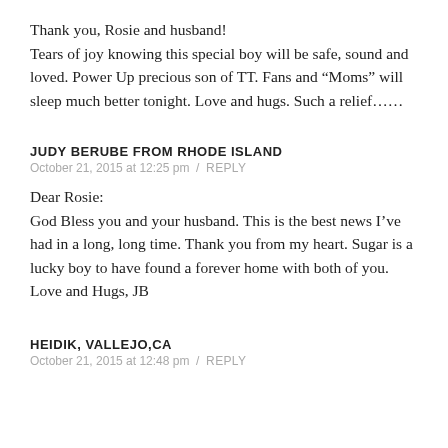Thank you, Rosie and husband!
Tears of joy knowing this special boy will be safe, sound and loved. Power Up precious son of TT. Fans and “Moms” will sleep much better tonight. Love and hugs. Such a relief……
JUDY BERUBE FROM RHODE ISLAND
October 21, 2015 at 12:25 pm  /  REPLY
Dear Rosie:
God Bless you and your husband. This is the best news I’ve had in a long, long time. Thank you from my heart. Sugar is a lucky boy to have found a forever home with both of you. Love and Hugs, JB
HEIDIK, VALLEJO,CA
October 21, 2015 at 12:48 pm  /  REPLY